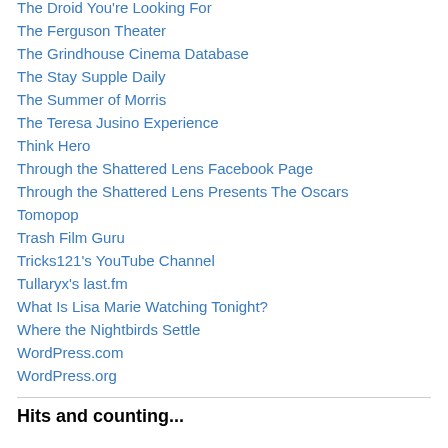The Droid You're Looking For
The Ferguson Theater
The Grindhouse Cinema Database
The Stay Supple Daily
The Summer of Morris
The Teresa Jusino Experience
Think Hero
Through the Shattered Lens Facebook Page
Through the Shattered Lens Presents The Oscars
Tomopop
Trash Film Guru
Tricks121's YouTube Channel
Tullaryx's last.fm
What Is Lisa Marie Watching Tonight?
Where the Nightbirds Settle
WordPress.com
WordPress.org
Hits and counting...